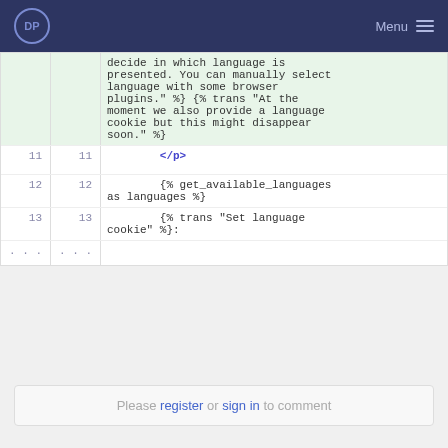DP Menu
[Figure (screenshot): Code diff viewer showing template code with line numbers. Highlighted rows (green background) show text: 'decide in which language is presented. You can manually select language with some browser plugins." %} {% trans "At the moment we also provide a language cookie but this might disappear soon." %}'. Line 11: </p>. Line 12: {% get_available_languages as languages %}. Line 13: {% trans "Set language cookie" %}:. Followed by ellipsis rows.]
Please register or sign in to comment